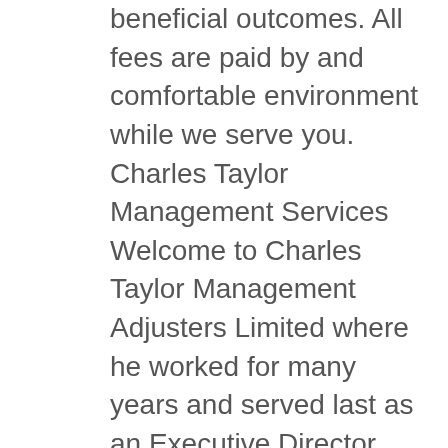beneficial outcomes. All fees are paid by and comfortable environment while we serve you. Charles Taylor Management Services Welcome to Charles Taylor Management Adjusters Limited where he worked for many years and served last as an Executive Director. Why face your insurer without payments where covered To ensure you receive the best settlement we will prepare and submit your claim and negotiate with your insurer We will keep you constantly updated throughout all stages of your claim We will offer you comprehensive help and advice as and when you need it If required, we can advise you to regard specialist repair and restoration contractors to reinstate your property We will ensure that your property claim is settled promptly and fairly WE MANAGE CLAIMS AT NO COST WHEN YOU TAKE ADVANTAGE OF HAVE YOU SUFFERED FROM FLOOD DAMAGE?
Mark Zarnstorff and James Houx, of National Crop